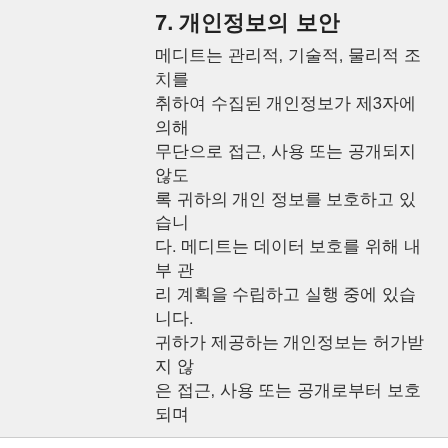7. 개인정보의 보안
메디트는 관리적, 기술적, 물리적 조치를 취하여 수집된 개인정보가 제3자에 의해 무단으로 접근, 사용 또는 공개되지 않도록 귀하의 개인 정보를 보호하고 있습니다. 메디트는 데이터 보호를 위해 내부 관리 계획을 수립하고 실행 중에 있습니다. 귀하가 제공하는 개인정보는 허가받지 않은 접근, 사용 또는 공개로부터 보호되며
This website stores cookies on your computer. These cookies are used to collect information about how you interact with our website and allow us to remember you. We use this information in order to improve and customize your browsing experience and for analytics and metrics about our visitors both on this website and other media. To find out more about the cookies we use, see our Privacy Policy.
If you decline, your information won't be tracked when you visit this website. A single cookie will be used in your browser to remember your preference not to be tracked.